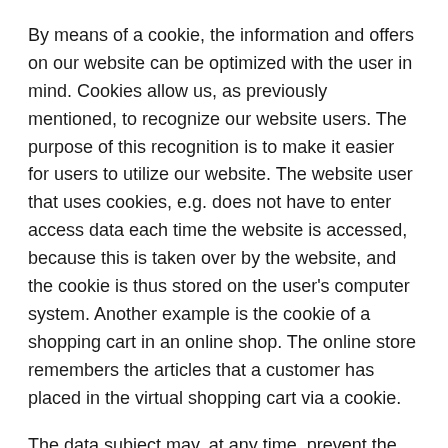By means of a cookie, the information and offers on our website can be optimized with the user in mind. Cookies allow us, as previously mentioned, to recognize our website users. The purpose of this recognition is to make it easier for users to utilize our website. The website user that uses cookies, e.g. does not have to enter access data each time the website is accessed, because this is taken over by the website, and the cookie is thus stored on the user's computer system. Another example is the cookie of a shopping cart in an online shop. The online store remembers the articles that a customer has placed in the virtual shopping cart via a cookie.
The data subject may, at any time, prevent the setting of cookies through our website by means of a corresponding setting of the Internet browser used, and may thus permanently deny the setting of cookies. Furthermore, already set cookies may be deleted at any